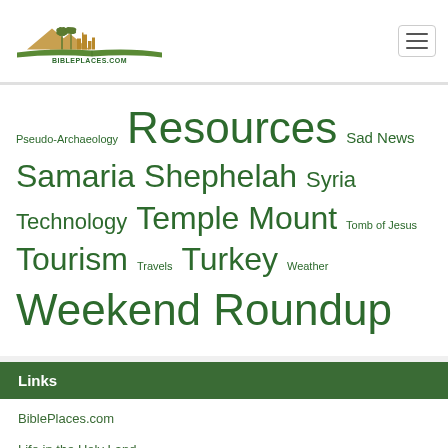[Figure (logo): BiblePlaces.com logo with mountain, palm trees, cityscape silhouette over an open book, with the text BIBLEPLACES.COM]
Pseudo-Archaeology Resources Sad News Samaria Shephelah Syria Technology Temple Mount Tomb of Jesus Tourism Travels Turkey Weather Weekend Roundup
Links
BiblePlaces.com
Life in the Holy Land
Paleojudaica
Bible and Interpretation